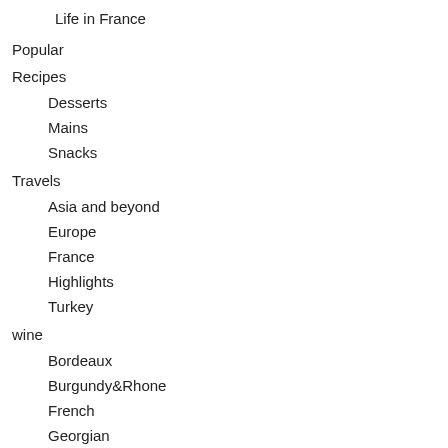Life in France
Popular
Recipes
Desserts
Mains
Snacks
Travels
Asia and beyond
Europe
France
Highlights
Turkey
wine
Bordeaux
Burgundy&Rhone
French
Georgian